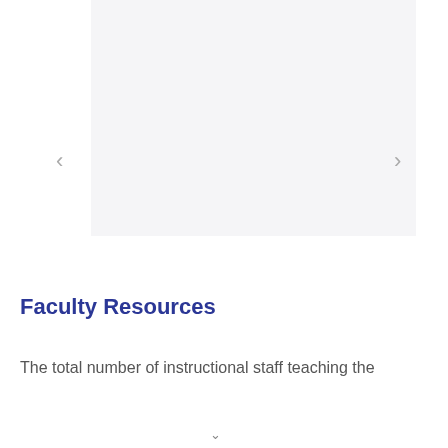[Figure (other): Image carousel placeholder with light gray background and left/right navigation arrows]
Faculty Resources
The total number of instructional staff teaching the